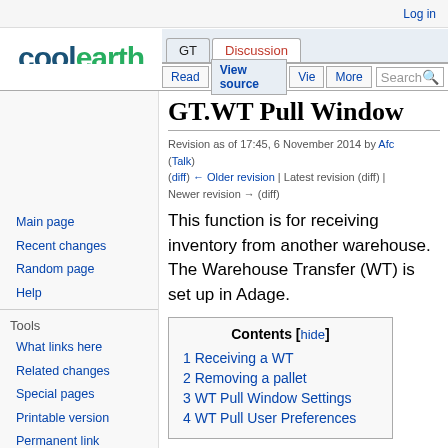Log in
[Figure (logo): COOLearth SOFTWARE logo in blue and green]
GT | Discussion | Read | View source | View | More | Search
GT.WT Pull Window
Revision as of 17:45, 6 November 2014 by Afc (Talk)
(diff) ← Older revision | Latest revision (diff) | Newer revision → (diff)
Main page
Recent changes
Random page
Help
Tools
What links here
Related changes
Special pages
Printable version
Permanent link
Page information
This function is for receiving inventory from another warehouse. The Warehouse Transfer (WT) is set up in Adage.
| Contents [hide] |
| --- |
| 1 Receiving a WT |
| 2 Removing a pallet |
| 3 WT Pull Window Settings |
| 4 WT Pull User Preferences |